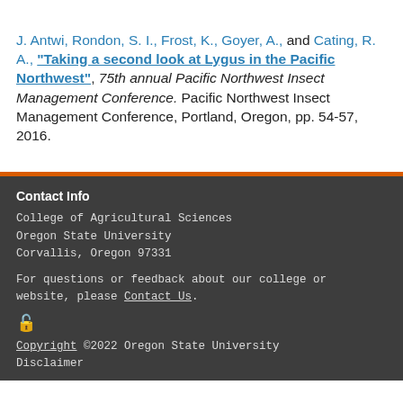J. Antwi, Rondon, S. I., Frost, K., Goyer, A., and Cating, R. A., "Taking a second look at Lygus in the Pacific Northwest", 75th annual Pacific Northwest Insect Management Conference. Pacific Northwest Insect Management Conference, Portland, Oregon, pp. 54-57, 2016.
Contact Info
College of Agricultural Sciences
Oregon State University
Corvallis, Oregon 97331
For questions or feedback about our college or website, please Contact Us.
Copyright ©2022 Oregon State University
Disclaimer